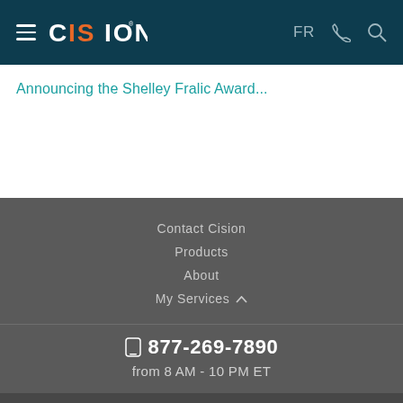CISION — FR (navigation header)
Announcing the Shelley Fralic Award...
Contact Cision
Products
About
My Services
877-269-7890 from 8 AM - 10 PM ET
Terms of Use | Information Security Policy | Site Map | Cookie Settings | Accessibility Statement | Copyright © 2022 CNW Group Ltd. All Rights Reserved. A Cision company.